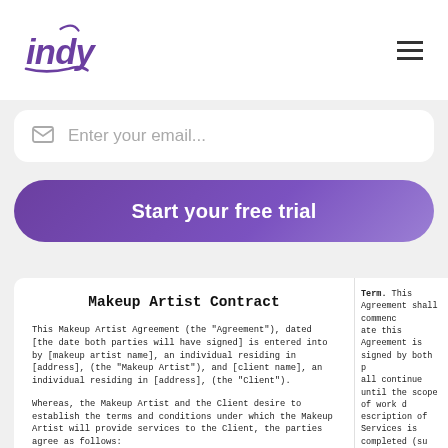indy [logo] [hamburger menu]
Enter your email...
Start your free trial
Makeup Artist Contract
This Makeup Artist Agreement (the "Agreement"), dated [the date both parties will have signed] is entered into by [makeup artist name], an individual residing in [address], (the "Makeup Artist"), and [client name], an individual residing in [address], (the "Client").
Whereas, the Makeup Artist and the Client desire to establish the terms and conditions under which the Makeup Artist will provide services to the Client, the parties agree as follows:
Term. This Agreement shall commence ate this Agreement is signed by both p all continue until the scope of work d escription of Services is completed (su ay be extended or sooner terminated th the provisions of Section 4, being n e ("Service Period").
Payment.
Service Cost. In consideration of the ient will pay the Makeup Artist of $ p ervice Cost").